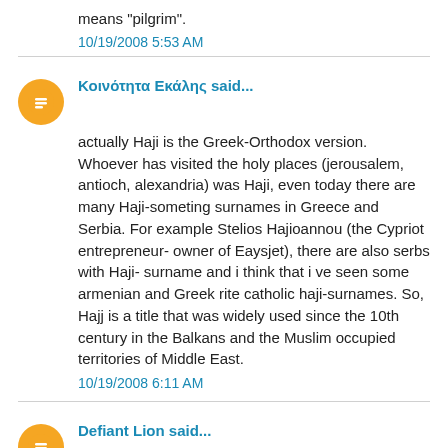means "pilgrim".
10/19/2008 5:53 AM
Κοινότητα Εκάλης said...
actually Haji is the Greek-Orthodox version. Whoever has visited the holy places (jerousalem, antioch, alexandria) was Haji, even today there are many Haji-someting surnames in Greece and Serbia. For example Stelios Hajioannou (the Cypriot entrepreneur- owner of Eaysjet), there are also serbs with Haji- surname and i think that i ve seen some armenian and Greek rite catholic haji-surnames. So, Hajj is a title that was widely used since the 10th century in the Balkans and the Muslim occupied territories of Middle East.
10/19/2008 6:11 AM
Defiant Lion said...
@PAFT: